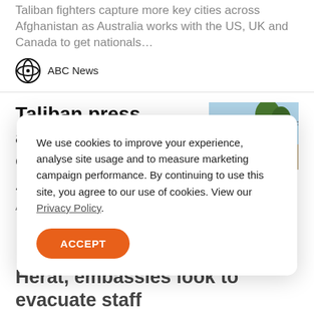Taliban fighters capture more key cities across Afghanistan as Australia works with the US, UK and Canada to get nationals…
ABC News
Taliban press advance after capturing 2 major Afghan cities
[Figure (photo): Photo of Taliban fighters on motorcycles on a street with trees]
An Afghan official says the rapidly-advancing Taliban
We use cookies to improve your experience, analyse site usage and to measure marketing campaign performance. By continuing to use this site, you agree to our use of cookies. View our Privacy Policy.
ACCEPT
Herat, embassies look to evacuate staff